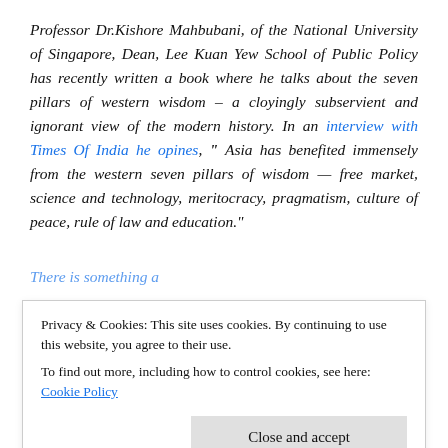Professor Dr.Kishore Mahbubani, of the National University of Singapore, Dean, Lee Kuan Yew School of Public Policy has recently written a book where he talks about the seven pillars of western wisdom – a cloyingly subservient and ignorant view of the modern history. In an interview with Times Of India he opines, " Asia has benefited immensely from the western seven pillars of wisdom — free market, science and technology, meritocracy, pragmatism, culture of peace, rule of law and education."
Privacy & Cookies: This site uses cookies. By continuing to use this website, you agree to their use. To find out more, including how to control cookies, see here: Cookie Policy
successful." Reportedly, The Economist further says that